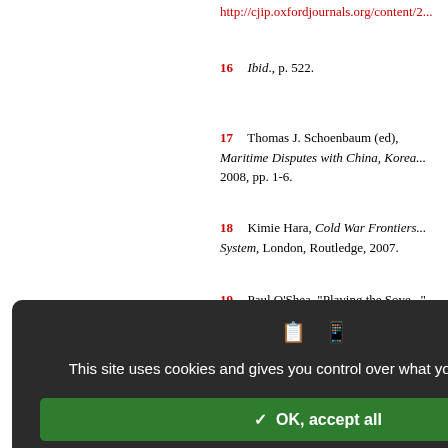http://cjip.oxfordjournals.org/content/2...
16  Ibid., p. 522.
17  Thomas J. Schoenbaum (ed.), Maritime Disputes with China, Korea... 2008, pp. 1-6.
18  Kimie Hara, Cold War Frontiers... System, London, Routledge, 2007.
19  Paul O'Shea, "Playing the Sove..." PhD dissertation, University of Sheffie...
20  Ibid., p. 22.
21  Ansuya Harjani, "Japan economy..." October www.cnbc.com/id/49325503/Japan_E... (accessed on 18 February 2013).
22  Allison Jackson, "Island dispute d..." www.thefinancialist.com/territorial-disp...
23  Eric Hyer, "The South China..." Settlements," Pacific Affairs, Vol. 68, N...
[Figure (screenshot): Cookie consent modal dialog over a document page. Modal has dark background with icons, text saying 'This site uses cookies and gives you control over what you want to activate', green OK button, red deny button, white personalize button, and privacy policy link.]